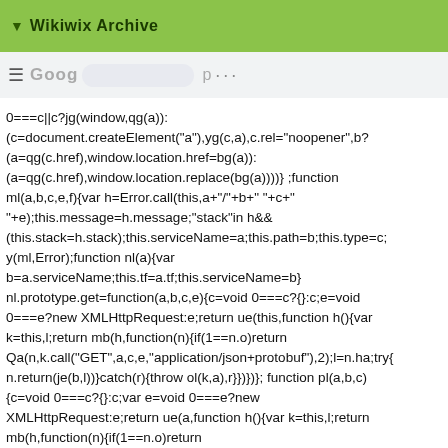Wikiwix Archive
0===c||c?jg(window,qg(a)):(c=document.createElement("a"),yg(c,a),c.rel="noopener",b?(a=qg(c.href),window.location.href=bg(a)):(a=qg(c.href),window.location.replace(bg(a))))} ;function ml(a,b,c,e,f){var h=Error.call(this,a+"/"+b+" "+c+" "+e);this.message=h.message;"stack"in h&&(this.stack=h.stack);this.serviceName=a;this.path=b;this.type=c;y(ml,Error);function nl(a){var b=a.serviceName;this.tf=a.tf;this.serviceName=b}nl.prototype.get=function(a,b,c,e){c=void 0===c?{}:c;e=void 0===e?new XMLHttpRequest:e;return ue(this,function h(){var k=this,l;return mb(h,function(n){if(1==n.o)return Qa(n,k.call("GET",a,c,e,"application/json+protobuf"),2);l=n.ha;try{n.return(je(b,l))}catch(r){throw ol(k,a),r}})})}; function pl(a,b,c){c=void 0===c?{}:c;var e=void 0===e?new XMLHttpRequest:e;return ue(a,function h(){var k=this,l;return mb(h,function(n){if(1==n.o)return Qa(n,k.call("GET",b,c,e,"application/json"),2);l=n.ha;try{return n.return(JSON.parse(l))}catch(r){throw ol(k,b),r}})})})